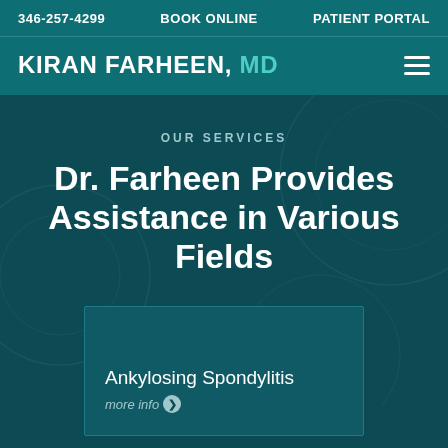346-257-4299   BOOK ONLINE   PATIENT PORTAL
KIRAN FARHEEN, MD
OUR SERVICES
Dr. Farheen Provides Assistance in Various Fields
Ankylosing Spondylitis
more info ❯